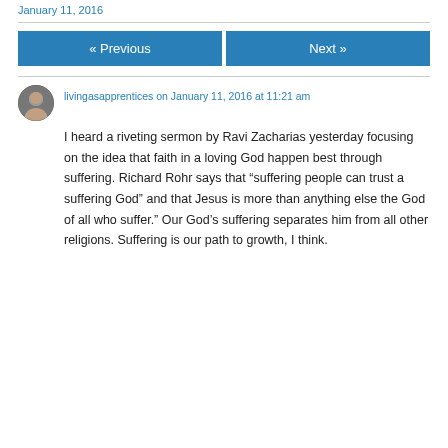January 11, 2016
« Previous
Next »
livingasapprentices on January 11, 2016 at 11:21 am
I heard a riveting sermon by Ravi Zacharias yesterday focusing on the idea that faith in a loving God happen best through suffering. Richard Rohr says that “suffering people can trust a suffering God” and that Jesus is more than anything else the God of all who suffer.” Our God’s suffering separates him from all other religions. Suffering is our path to growth, I think.